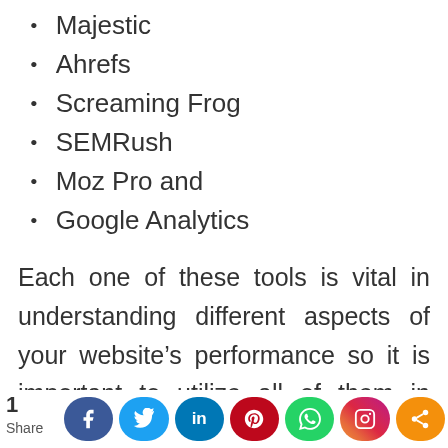Majestic
Ahrefs
Screaming Frog
SEMRush
Moz Pro and
Google Analytics
Each one of these tools is vital in understanding different aspects of your website’s performance so it is important to utilize all of them in order to get a full picture
1 of M Share